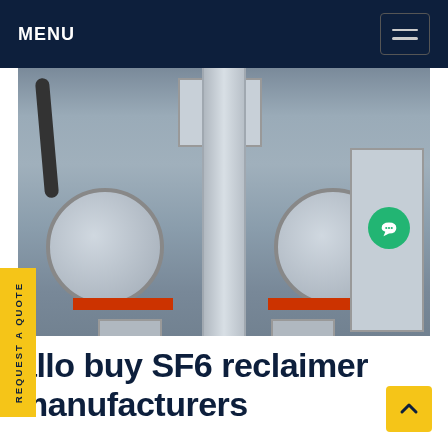MENU
[Figure (photo): Industrial SF6 reclaimer machinery inside a facility, showing large cylindrical flanged components with red striping, a central vertical pipe, cabling, and metal enclosures. Watermark 'SF6China' in orange at lower right.]
REQUEST A QUOTE
allo buy SF6 reclaimer manufacturers